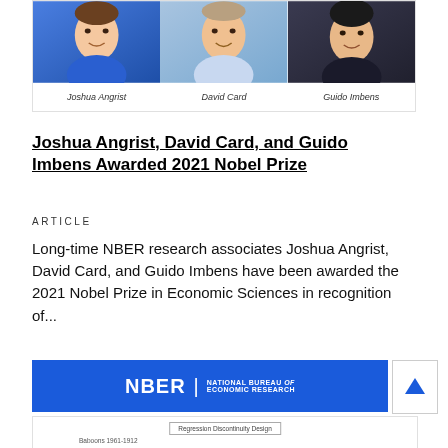[Figure (photo): Three headshot photos of Joshua Angrist, David Card, and Guido Imbens side by side]
Joshua Angrist        David Card        Guido Imbens
Joshua Angrist, David Card, and Guido Imbens Awarded 2021 Nobel Prize
ARTICLE
Long-time NBER research associates Joshua Angrist, David Card, and Guido Imbens have been awarded the 2021 Nobel Prize in Economic Sciences in recognition of...
[Figure (logo): NBER - National Bureau of Economic Research blue banner logo with white text and an up-arrow button]
[Figure (other): Partial view of a Regression Discontinuity Design diagram teaser at the bottom of the page]